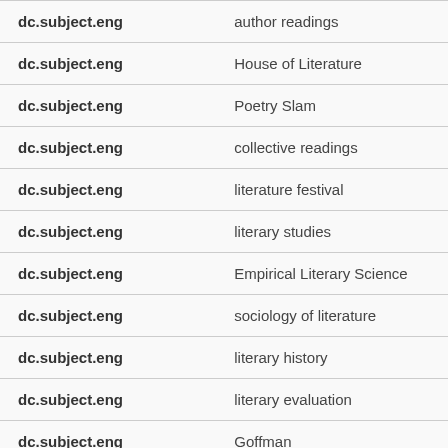| dc.subject.eng | author readings |
| dc.subject.eng | House of Literature |
| dc.subject.eng | Poetry Slam |
| dc.subject.eng | collective readings |
| dc.subject.eng | literature festival |
| dc.subject.eng | literary studies |
| dc.subject.eng | Empirical Literary Science |
| dc.subject.eng | sociology of literature |
| dc.subject.eng | literary history |
| dc.subject.eng | literary evaluation |
| dc.subject.eng | Goffman |
| dc.subject.eng | Bourdieu |